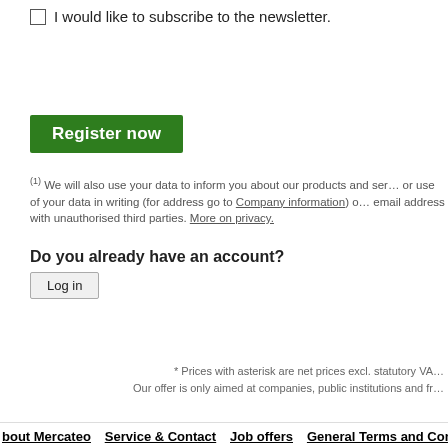I would like to subscribe to the newsletter.
[Figure (other): Green 'Register now' button]
(1) We will also use your data to inform you about our products and services or use of your data in writing (for address go to Company information) or email address with unauthorised third parties. More on privacy.
Do you already have an account?
[Figure (other): Grey 'Log in' button]
* Prices with asterisk are net prices excl. statutory VAT
Our offer is only aimed at companies, public institutions and fr...
About Mercateo   Service & Contact   Job offers   General Terms and Conditi...